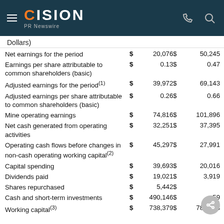CISION PR Newswire
Dollars)
|  | $ |  |  |
| --- | --- | --- | --- |
| Net earnings for the period | $ | 20,076 | $  50,245 |
| Earnings per share attributable to common shareholders (basic) | $ | 0.13 | $  0.47 |
| Adjusted earnings for the period(1) | $ | 39,972 | $  69,143 |
| Adjusted earnings per share attributable to common shareholders (basic) | $ | 0.26 | $  0.66 |
| Mine operating earnings | $ | 74,816 | $  101,896 |
| Net cash generated from operating activities | $ | 32,251 | $  37,395 |
| Operating cash flows before changes in non-cash operating working capital(2) | $ | 45,297 | $  27,991 |
| Capital spending | $ | 39,693 | $  20,016 |
| Dividends paid | $ | 19,021 | $  3,919 |
| Shares repurchased | $ | 5,442 | $  — |
| Cash and short-term investments | $ | 490,146 | $  59… |
| Working capital(3) | $ | 738,379 | $  781,908 |